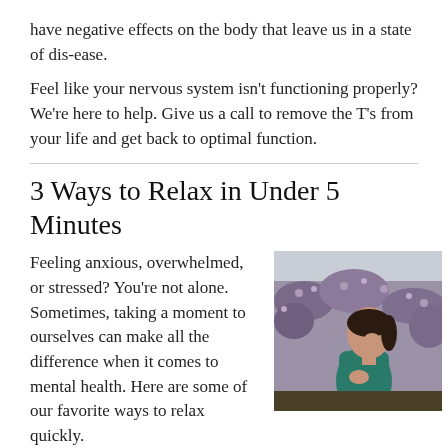have negative effects on the body that leave us in a state of dis-ease.
Feel like your nervous system isn't functioning properly? We're here to help. Give us a call to remove the T's from your life and get back to optimal function.
3 Ways to Relax in Under 5 Minutes
Feeling anxious, overwhelmed, or stressed? You're not alone. Sometimes, taking a moment to ourselves can make all the difference when it comes to mental health. Here are some of our favorite ways to relax quickly.
[Figure (photo): A woman in a teal shirt sitting outdoors among purple flowering plants, tilting her head back with eyes closed in a relaxed pose.]
Get your head below your heart. Hanging with your arms and head toward your toes lessens your fight or flight response.